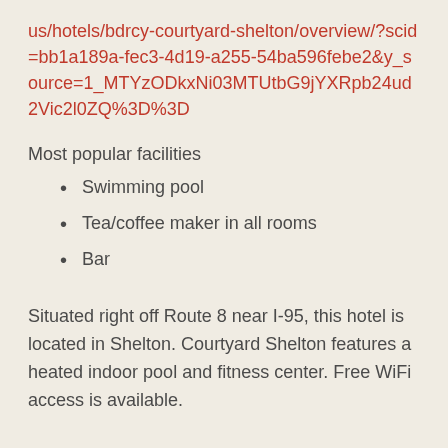us/hotels/bdrcy-courtyard-shelton/overview/?scid=bb1a189a-fec3-4d19-a255-54ba596febe2&y_source=1_MTYzODkxNi03MTUtbG9jYXRpb24ud2Vic2l0ZQ%3D%3D
Most popular facilities
Swimming pool
Tea/coffee maker in all rooms
Bar
Situated right off Route 8 near I-95, this hotel is located in Shelton. Courtyard Shelton features a heated indoor pool and fitness center. Free WiFi access is available.